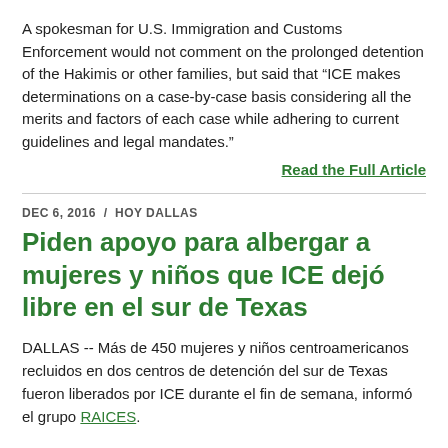A spokesman for U.S. Immigration and Customs Enforcement would not comment on the prolonged detention of the Hakimis or other families, but said that “ICE makes determinations on a case-by-case basis considering all the merits and factors of each case while adhering to current guidelines and legal mandates.”
Read the Full Article
DEC 6, 2016  /  HOY DALLAS
Piden apoyo para albergar a mujeres y niños que ICE dejó libre en el sur de Texas
DALLAS -- Más de 450 mujeres y niños centroamericanos recluidos en dos centros de detención del sur de Texas fueron liberados por ICE durante el fin de semana, informó el grupo RAICES.